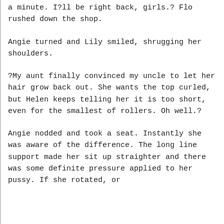a minute. I?ll be right back, girls.? Flo rushed down the shop.
Angie turned and Lily smiled, shrugging her shoulders.
?My aunt finally convinced my uncle to let her hair grow back out. She wants the top curled, but Helen keeps telling her it is too short, even for the smallest of rollers. Oh well.?
Angie nodded and took a seat. Instantly she was aware of the difference. The long line support made her sit up straighter and there was some definite pressure applied to her pussy. If she rotated, or